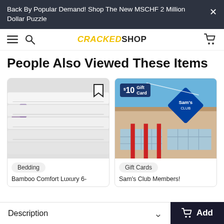Back By Popular Demand! Shop The New MSCHF 2 Million Dollar Puzzle
CRACKED SHOP
People Also Viewed These Items
[Figure (photo): Stacked white bamboo bed sheets folded neatly, with purple flowers in background. Has bookmark icon in top right.]
Bedding
Bamboo Comfort Luxury 6-
[Figure (photo): Sam's Club store exterior with blue sky. $10 Gift Card badge in top left corner.]
Gift Cards
Sam's Club Members!
Description
Add